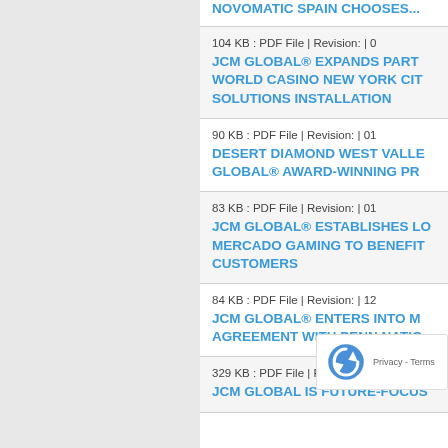NOVOMATIC SPAIN CHOOSES...
104 KB : PDF File | Revision: | 0... JCM GLOBAL® EXPANDS PART... WORLD CASINO NEW YORK CIT... SOLUTIONS INSTALLATION
90 KB : PDF File | Revision: | 01... DESERT DIAMOND WEST VALLE... GLOBAL® AWARD-WINNING PR...
83 KB : PDF File | Revision: | 01... JCM GLOBAL® ESTABLISHES LO... MERCADO GAMING TO BENEFIT... CUSTOMERS
84 KB : PDF File | Revision: | 12... JCM GLOBAL® ENTERS INTO M... AGREEMENT WITH PENN NATIO...
329 KB : PDF File | R... JCM GLOBAL IS FUTURE-FOCUS...